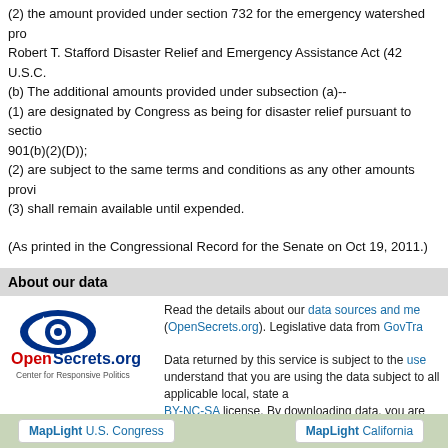(2) the amount provided under section 732 for the emergency watershed pro... Robert T. Stafford Disaster Relief and Emergency Assistance Act (42 U.S.C....
(b) The additional amounts provided under subsection (a)--
(1) are designated by Congress as being for disaster relief pursuant to section 901(b)(2)(D));
(2) are subject to the same terms and conditions as any other amounts provi...
(3) shall remain available until expended.
(As printed in the Congressional Record for the Senate on Oct 19, 2011.)
About our data
[Figure (logo): OpenSecrets.org Center for Responsive Politics logo with eye graphic]
Read the details about our data sources and me... (OpenSecrets.org). Legislative data from GovTra... Data returned by this service is subject to the use... understand that you are using the data subject to all applicable local, state a... BY-NC-SA license. By downloading data, you are agreeing to the terms of th... must be attributed to FollowTheMoney.org.
MapLight U.S. Congress   MapLight California